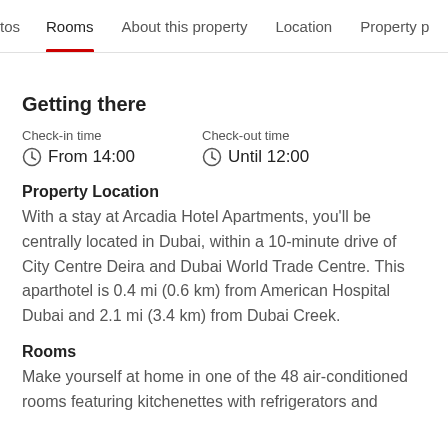tos  Rooms  About this property  Location  Property p
Getting there
Check-in time
⏱ From 14:00
Check-out time
⏱ Until 12:00
Property Location
With a stay at Arcadia Hotel Apartments, you'll be centrally located in Dubai, within a 10-minute drive of City Centre Deira and Dubai World Trade Centre. This aparthotel is 0.4 mi (0.6 km) from American Hospital Dubai and 2.1 mi (3.4 km) from Dubai Creek.
Rooms
Make yourself at home in one of the 48 air-conditioned rooms featuring kitchenettes with refrigerators and